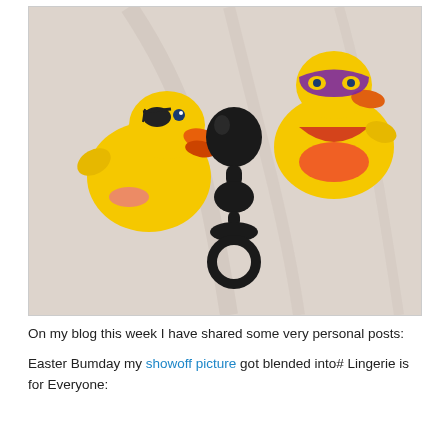[Figure (photo): Photo of two novelty rubber ducks (one dressed as a pirate, one as a superhero) flanking a black silicone anal plug with a ring base, all lying on a white fabric background.]
On my blog this week I have shared some very personal posts:
Easter Bumday my showoff picture got blended into# Lingerie is for Everyone: